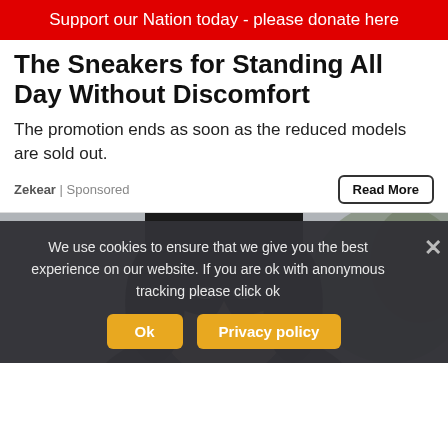Support our Nation today - please donate here
The Sneakers for Standing All Day Without Discomfort
The promotion ends as soon as the reduced models are sold out.
Zekear | Sponsored
[Figure (photo): Portrait photo of a woman with dark hair, outdoors with blurred background]
We use cookies to ensure that we give you the best experience on our website. If you are ok with anonymous tracking please click ok